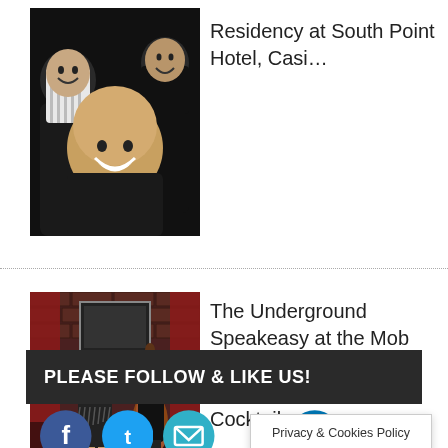[Figure (photo): Group photo of three smiling men in dark clothing]
Residency at South Point Hotel, Casi…
[Figure (photo): Jazz musicians performing at The Underground Speakeasy — female singer in flapper dress and male bassist with upright bass on a dark stage with red curtains]
The Underground Speakeasy at the Mob Museum Features Live Music, Limited-Edition Cocktails…
PLEASE FOLLOW & LIKE US!
[Figure (other): Social media icons: Facebook, Twitter, Email, LinkedIn]
Privacy & Cookies Policy